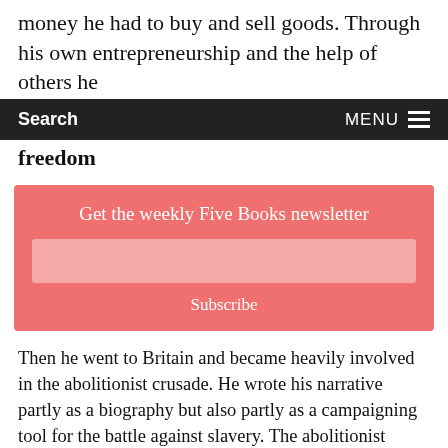money he had to buy and sell goods. Through his own entrepreneurship and the help of others he
Search    MENU
freedom
Get the weekly Five Books newsletter
Subscribe
Then he went to Britain and became heavily involved in the abolitionist crusade. He wrote his narrative partly as a biography but also partly as a campaigning tool for the battle against slavery. The abolitionist movement was a movement of oratory and Equiano read passages from this book in tours across Britain. He spoke in Bristol, where I live, and travelled the country talking about the experiences